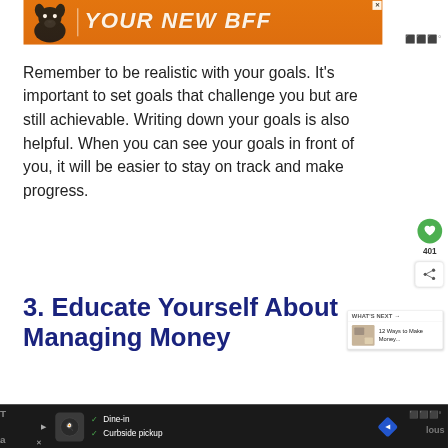[Figure (other): Orange advertisement banner with dog silhouette and text YOUR NEW BFF]
Remember to be realistic with your goals. It's important to set goals that challenge you but are still achievable. Writing down your goals is also helpful. When you can see your goals in front of you, it will be easier to stay on track and make progress.
3. Educate Yourself About Managing Money
[Figure (other): What's Next widget showing thumbnail and text: 12 Ways to Make Money...]
[Figure (other): Bottom advertisement bar with Dine-in and Curbside pickup options on dark background]